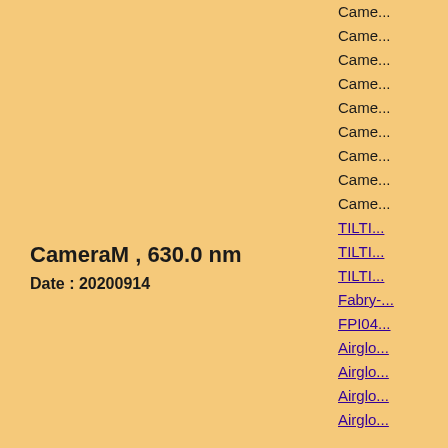CameraM , 630.0 nm
Date : 20200914
Click figure to enlarge
Came...
Came...
Came...
Came...
Came...
Came...
Came...
Came...
Came...
TILTI...
TILTI...
TILTI...
Fabry-...
FPI04...
Airglo...
Airglo...
Airglo...
Airglo...
Airglo...
Airglo...
3-ch p...
3-ch p...